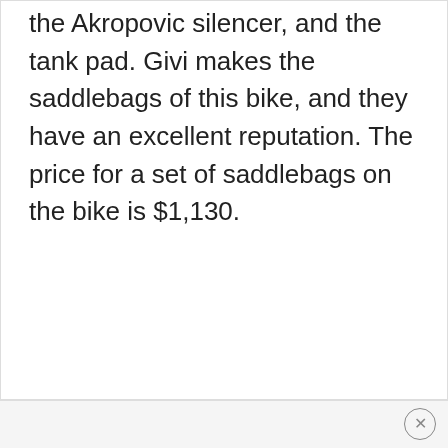the Akropovic silencer, and the tank pad. Givi makes the saddlebags of this bike, and they have an excellent reputation. The price for a set of saddlebags on the bike is $1,130.